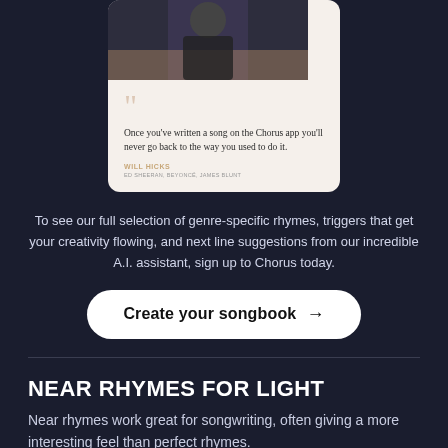[Figure (photo): Testimonial card with a photo of Will Hicks at top, large decorative quotation marks, quote text, author name and role on a cream/beige background card]
To see our full selection of genre-specific rhymes, triggers that get your creativity flowing, and next line suggestions from our incredible A.I. assistant, sign up to Chorus today.
Create your songbook →
NEAR RHYMES FOR LIGHT
Near rhymes work great for songwriting, often giving a more interesting feel than perfect rhymes.